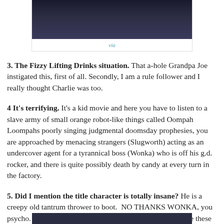[Figure (photo): Partial photo of a person wearing a dark navy/blue top, cropped at top, with a 'via' caption below]
via
3. The Fizzy Lifting Drinks situation. That a-hole Grandpa Joe instigated this, first of all. Secondly, I am a rule follower and I really thought Charlie was too.
4 It's terrifying. It's a kid movie and here you have to listen to a slave army of small orange robot-like things called Oompah Loompahs poorly singing judgmental doomsday prophesies, you are approached by menacing strangers (Slugworth) acting as an undercover agent for a tyrannical boss (Wonka) who is off his g.d. rocker, and there is quite possibly death by candy at every turn in the factory.
5. Did I mention the title character is totally insane? He is a creepy old tantrum thrower to boot.  NO THANKS WONKA, you psycho. Take your golden ticket and sit on it. I do really like these lines though even though he's red faced and letting spittle fly when he says them: You get nothing! You lose! Good day sir.